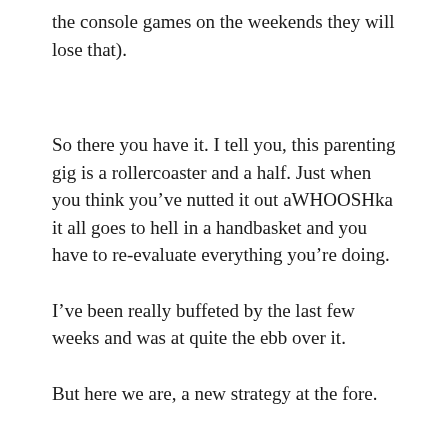the console games on the weekends they will lose that).
So there you have it. I tell you, this parenting gig is a rollercoaster and a half. Just when you think you’ve nutted it out aWHOOSHka it all goes to hell in a handbasket and you have to re-evaluate everything you’re doing.
I’ve been really buffeted by the last few weeks and was at quite the ebb over it.
But here we are, a new strategy at the fore.